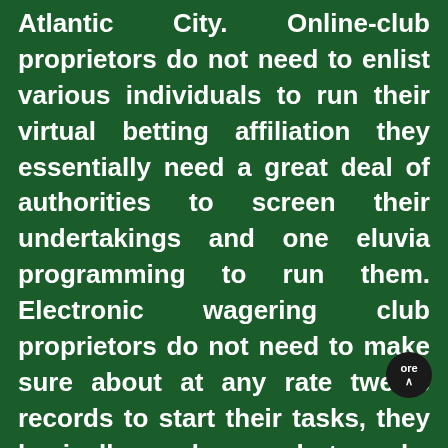Atlantic City. Online-club proprietors do not need to enlist various individuals to run their virtual betting affiliation they essentially need a great deal of authorities to screen their undertakings and one eluvia programming to run them. Electronic wagering club proprietors do not need to make sure about at any rate twelve records to start their tasks, they basically need a couple to make them credible and they are set up to run. Online-club proprietors do not need to lease a property to gather a wagering club considering how the web is totally virtual and tricky, so no need for building licenses and such other stuff. So in a general sense, it is considerably more direct to make an online club than a bona fide one, which is the clarification such incalculable them have begun making when...